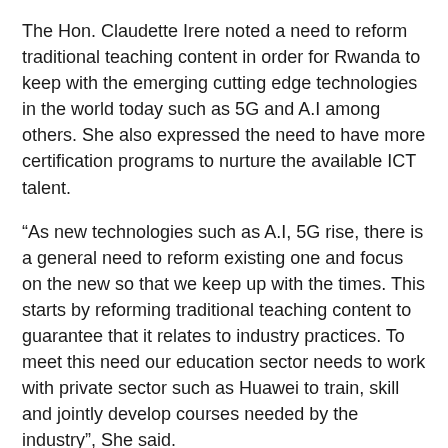The Hon. Claudette Irere noted a need to reform traditional teaching content in order for Rwanda to keep with the emerging cutting edge technologies in the world today such as 5G and A.I among others. She also expressed the need to have more certification programs to nurture the available ICT talent.
“As new technologies such as A.I, 5G rise, there is a general need to reform existing one and focus on the new so that we keep up with the times. This starts by reforming traditional teaching content to guarantee that it relates to industry practices. To meet this need our education sector needs to work with private sector such as Huawei to train, skill and jointly develop courses needed by the industry”, She said.
“I believe those will take part will make Rwanda proud as you interact, participate and share knowledge with other